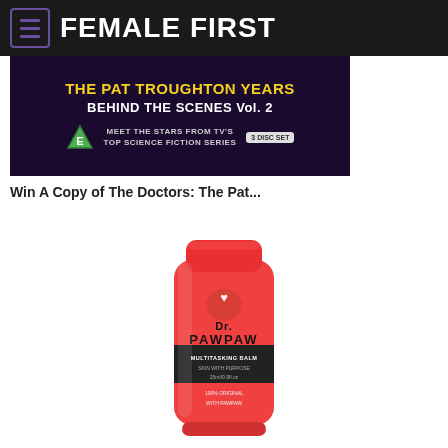FEMALE FIRST
[Figure (photo): Advertisement banner for 'The Pat Troughton Years Behind The Scenes Vol. 2' DVD set, with text 'Meet the Stars from TV's Top Science Fiction Series' and a 3 disc set badge, dark purple/brown background with yellow and white text]
Win A Copy of The Doctors: The Pat...
[Figure (photo): A red tube of Dr. PAWPAW product (lip balm/multi-purpose balm) with black label band in the middle, on white background]